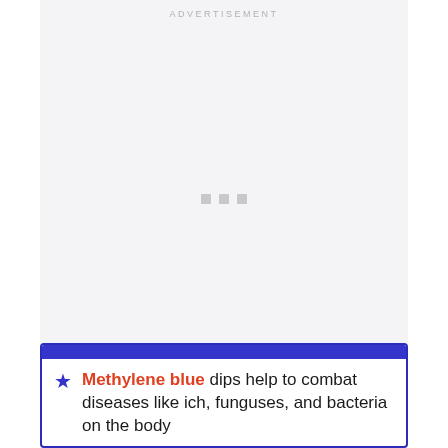ADVERTISEMENT
[Figure (other): Advertisement placeholder block with light gray background and three small gray squares centered]
Methylene blue dips help to combat diseases like ich, funguses, and bacteria on the body